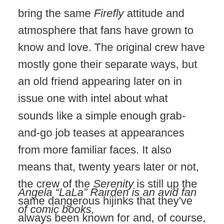bring the same Firefly attitude and atmosphere that fans have grown to know and love. The original crew have mostly gone their separate ways, but an old friend appearing later on in issue one with intel about what sounds like a simple enough grab-and-go job teases at appearances from more familiar faces. It also means that, twenty years later or not, the crew of the Serenity is still up the same dangerous hijinks that they've always been known for and, of course, that nothing can ever go as gorram smoothly as promised.
If you're a Firefly fan, I recommend picking up issue one, as issue two will be released on April 21st.
Angela “LaLa” Rairden is an avid fan of comic books,